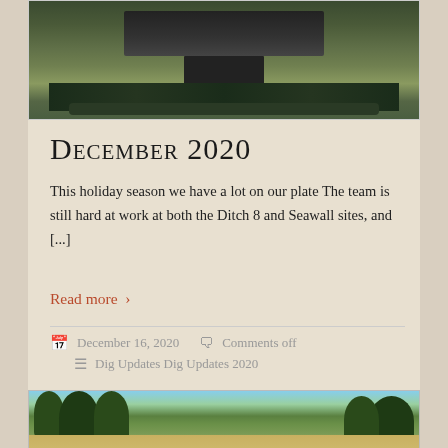[Figure (photo): Outdoor archaeological or construction site with dark tarps/equipment on grass]
December 2020
This holiday season we have a lot on our plate The team is still hard at work at both the Ditch 8 and Seawall sites, and [...]
Read more >
December 16, 2020   Comments off   Dig Updates Dig Updates 2020
[Figure (photo): Wide landscape shot of a field with trees in background, blue sky, construction or excavation area visible]